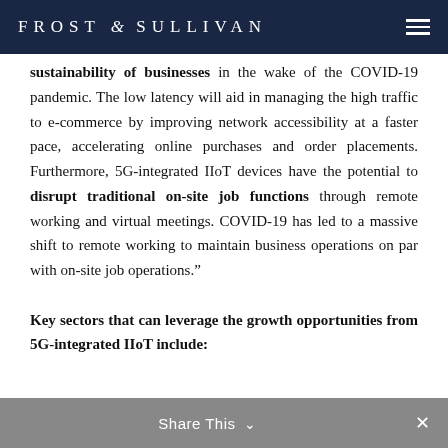FROST & SULLIVAN
sustainability of businesses in the wake of the COVID-19 pandemic. The low latency will aid in managing the high traffic to e-commerce by improving network accessibility at a faster pace, accelerating online purchases and order placements. Furthermore, 5G-integrated IIoT devices have the potential to disrupt traditional on-site job functions through remote working and virtual meetings. COVID-19 has led to a massive shift to remote working to maintain business operations on par with on-site job operations.”
Key sectors that can leverage the growth opportunities from 5G-integrated IIoT include:
Share This ⌄ ×